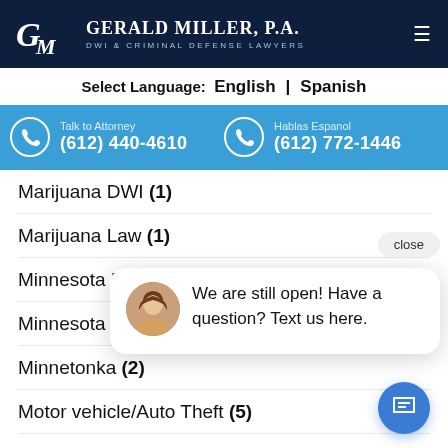GERALD MILLER, P.A. DWI & CRIMINAL DEFENSE LAWYERS
Select Language: English | Spanish
Talk to Attorney (612) 440-4610 | Hablas Espanol (612) 772-1446
Marijuana DWI (1)
Marijuana Law (1)
Minnesota DW...
Minnesota DW...
Minnetonka (2)
Motor vehicle/Auto Theft (5)
privacy (2)
Probation Violation (1)
We are still open! Have a question? Text us here.